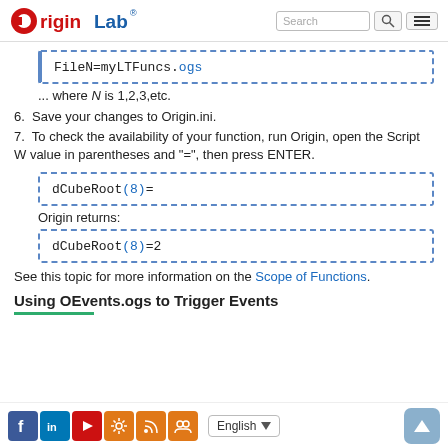OriginLab [Search] [menu]
FileN=myLTFuncs.ogs
... where N is 1,2,3,etc.
6. Save your changes to Origin.ini.
7. To check the availability of your function, run Origin, open the Script Window, type the function name followed by a numeric value in parentheses and "=", then press ENTER.
dCubeRoot(8)=
Origin returns:
dCubeRoot(8)=2
See this topic for more information on the Scope of Functions.
Using OEvents.ogs to Trigger Events
Facebook LinkedIn YouTube Settings RSS Group | English | Top